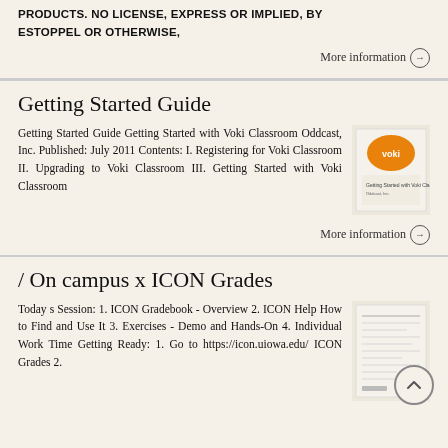PRODUCTS. NO LICENSE, EXPRESS OR IMPLIED, BY ESTOPPEL OR OTHERWISE,
More information →
Getting Started Guide
Getting Started Guide Getting Started with Voki Classroom Oddcast, Inc. Published: July 2011 Contents: I. Registering for Voki Classroom II. Upgrading to Voki Classroom III. Getting Started with Voki Classroom
[Figure (illustration): Thumbnail image of the Getting Started with Voki Classroom document cover, showing an orange speech bubble with Voki logo]
More information →
/ On campus x ICON Grades
Today s Session: 1. ICON Gradebook - Overview 2. ICON Help How to Find and Use It 3. Exercises - Demo and Hands-On 4. Individual Work Time Getting Ready: 1. Go to https://icon.uiowa.edu/ ICON Grades 2.
[Figure (illustration): Thumbnail image of the ICON Grades document, showing text content of a grades-related document]